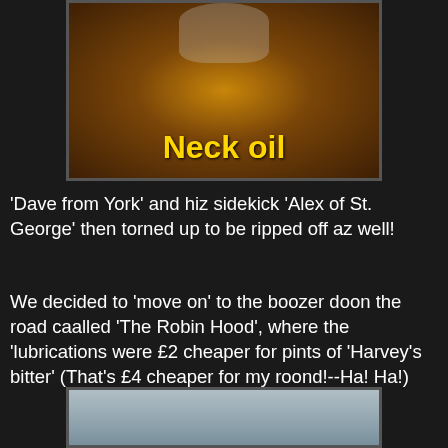[Figure (photo): Photo of a beer glass on a wooden surface with yellow bold text 'Neck oil' overlaid at the bottom]
'Dave from York' and hiz sidekick 'Alex of St. George' then torned up to be ripped off az well!
We decided to 'move on' to the boozer doon the road caalled 'The Robin Hood', where the 'lubrications were £2 cheaper for pints of 'Harvey's bitter' (That's £4 cheaper for my roond!--Ha! Ha!)
[Figure (photo): Partial photo of a grey sky scene, partially visible at bottom of page]